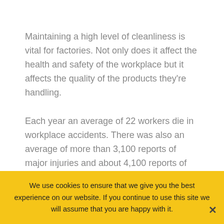Maintaining a high level of cleanliness is vital for factories. Not only does it affect the health and safety of the workplace but it affects the quality of the products they're handling.
Each year an average of 22 workers die in workplace accidents. There was also an average of more than 3,100 reports of major injuries and about 4,100 reports of injuries that kept workers away from work for seven days or more during the last years.
We use cookies to ensure that we give you the best experience on our website. If you continue to use this site we will assume that you are happy with it.